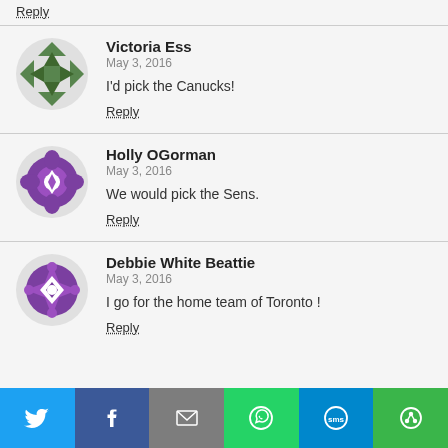Reply
Victoria Ess
May 3, 2016
I'd pick the Canucks!
Reply
Holly OGorman
May 3, 2016
We would pick the Sens.
Reply
Debbie White Beattie
May 3, 2016
I go for the home team of Toronto !
Reply
[Figure (infographic): Social sharing bar with Twitter, Facebook, Email, WhatsApp, SMS, and another share button]